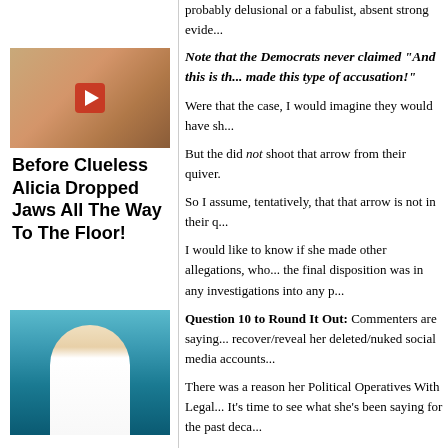probably delusional or a fabulist, absent strong evidence...
Note that the Democrats never claimed "And this is th... made this type of accusation!"
Were that the case, I would imagine they would have sh...
But the did not shoot that arrow from their quiver.
So I assume, tentatively, that that arrow is not in their q...
I would like to know if she made other allegations, who... the final disposition was in any investigations into any p...
[Figure (photo): Photo of a woman with long hair in an outdoor desert-like setting with a video play button overlay]
Before Clueless Alicia Dropped Jaws All The Way To The Floor!
Question 10 to Round It Out: Commenters are saying... recover/reveal her deleted/nuked social media accounts...
There was a reason her Political Operatives With Legal... It's time to see what she's been saying for the past deca...
The Democrats demanded a full investigation -- it's tim...
Shock: Ford's Political Operators With Legal Licens... Have No Time Limit, So It Could, Get This, Run Pa...
Who could have seen this Plot Twist coming?
[Figure (photo): Photo of a man with sunglasses wearing a white shirt against a blue/teal background]
Dr. Ford's lawyer, Debra S. Katz, on FBI probe: "... or scope should be imposed on thi...